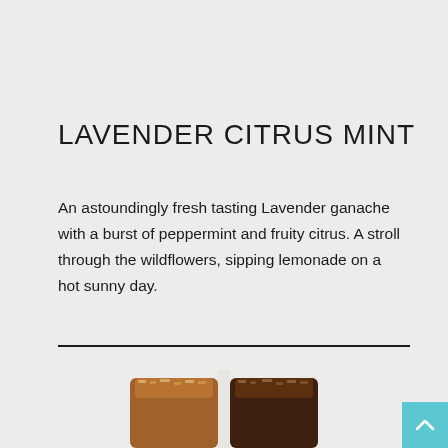LAVENDER CITRUS MINT
An astoundingly fresh tasting Lavender ganache with a burst of peppermint and fruity citrus. A stroll through the wildflowers, sipping lemonade on a hot sunny day.
[Figure (photo): Two chocolate bonbons/truffles with brown milk chocolate and dark chocolate coatings, topped with crushed pieces, partially visible at bottom of page.]